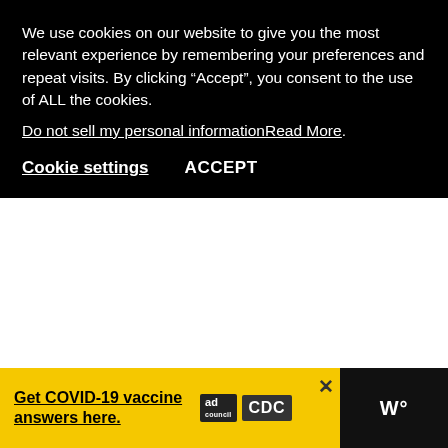We use cookies on our website to give you the most relevant experience by remembering your preferences and repeat visits. By clicking “Accept”, you consent to the use of ALL the cookies.
Do not sell my personal information.Read More.
Cookie settings   ACCEPT
This site uses Akismet to reduce spam. Learn how your comment data is processed.
[Figure (screenshot): Get COVID-19 vaccine answers here. Ad Council and CDC logos. Close button. Dark panel on right with W degree symbol.]